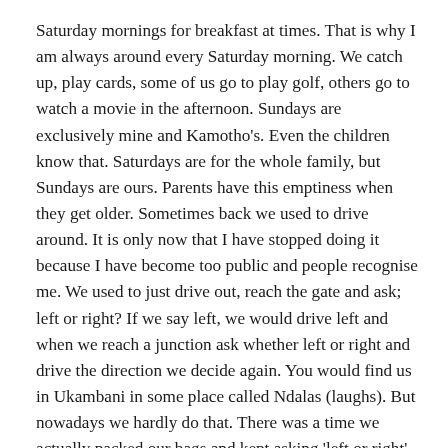Saturday mornings for breakfast at times. That is why I am always around every Saturday morning. We catch up, play cards, some of us go to play golf, others go to watch a movie in the afternoon. Sundays are exclusively mine and Kamotho's. Even the children know that. Saturdays are for the whole family, but Sundays are ours. Parents have this emptiness when they get older. Sometimes back we used to drive around. It is only now that I have stopped doing it because I have become too public and people recognise me. We used to just drive out, reach the gate and ask; left or right? If we say left, we would drive left and when we reach a junction ask whether left or right and drive the direction we decide again. You would find us in Ukambani in some place called Ndalas (laughs). But nowadays we hardly do that. There was a time we actually packed our bags and kept asking 'left or right' and we went all the way to Uganda. We had no fixed destination, we just went.